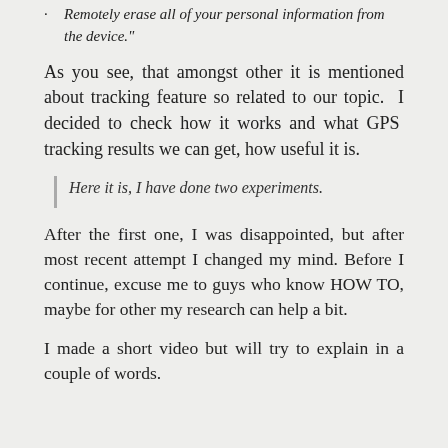Remotely erase all of your personal information from the device."
As you see, that amongst other it is mentioned about tracking feature so related to our topic.  I decided to check how it works and what GPS tracking results we can get, how useful it is.
Here it is, I have done two experiments.
After the first one, I was disappointed, but after most recent attempt I changed my mind. Before I continue, excuse me to guys who know HOW TO, maybe for other my research can help a bit.
I made a short video but will try to explain in a couple of words.